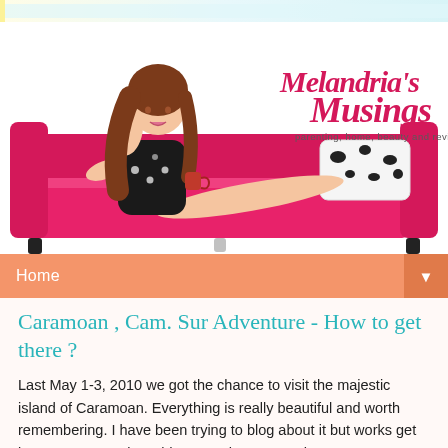[Figure (illustration): Blog header/logo for Melandria's Musings showing a cartoon woman with brown hair sitting on a pink/magenta sofa, with the cursive text 'Melandria's Musings' and subtitle 'parenting, home, beauty and reviews'. There is a decorative light blue/teal banner at the top.]
Home ▼
Caramoan , Cam. Sur Adventure - How to get there ?
Last May 1-3, 2010 we got the chance to visit the majestic island of Caramoan. Everything is really beautiful and worth remembering. I have been trying to blog about it but works get into my way.  So, i would start on how to get there.